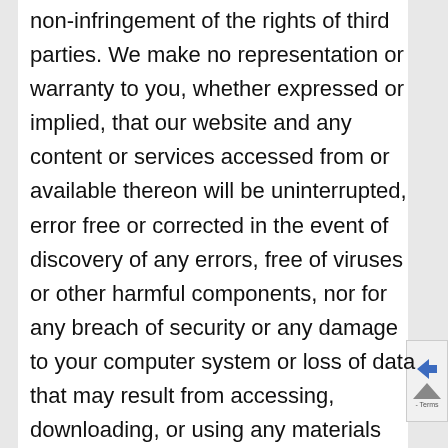non-infringement of the rights of third parties. We make no representation or warranty to you, whether expressed or implied, that our website and any content or services accessed from or available thereon will be uninterrupted, error free or corrected in the event of discovery of any errors, free of viruses or other harmful components, nor for any breach of security or any damage to your computer system or loss of data that may result from accessing, downloading, or using any materials from our website.
We reserve the right, at our sole discretion, to modify, disable access to or discontinue, temporarily or permanently, any part or all of our website or any content contained thereon, without liability or notice to you.
As a visitor to our website, you acknowledge and